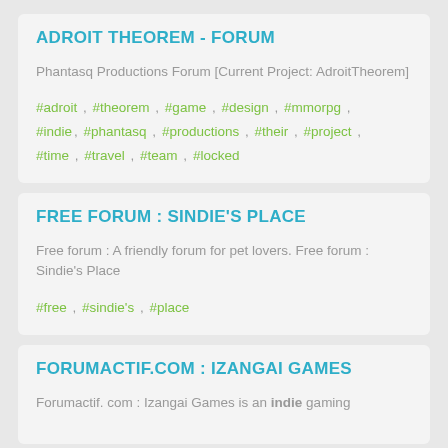ADROIT THEOREM - FORUM
Phantasq Productions Forum [Current Project: AdroitTheorem]
#adroit , #theorem , #game , #design , #mmorpg , #indie, #phantasq , #productions , #their , #project , #time , #travel , #team , #locked
FREE FORUM : SINDIE'S PLACE
Free forum : A friendly forum for pet lovers. Free forum : Sindie's Place
#free , #sindie's , #place
FORUMACTIF.COM : IZANGAI GAMES
Forumactif. com : Izangai Games is an indie gaming